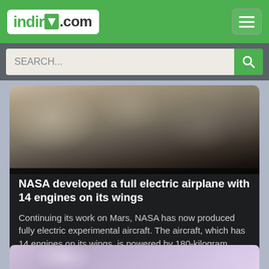indir.com
SEARCH...
[Figure (photo): Blurred photograph, appears to show an interior or industrial space]
NASA developed a full electric airplane with 14 engines on its wings
Continuing its work on Mars, NASA has now produced fully electric experimental aircraft. The aircraft, which has 14 engines on its wings, is powered by 180-kilogram
2020-04-05 22:32:13
[Figure (photo): Partial blurred photograph at bottom of page, shows colorful blurred image]